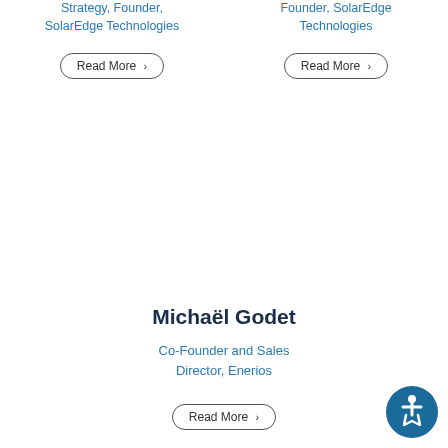Strategy, Founder, SolarEdge Technologies
Read More
Founder, SolarEdge Technologies
Read More
Michaël Godet
Co-Founder and Sales Director, Enerios
Read More